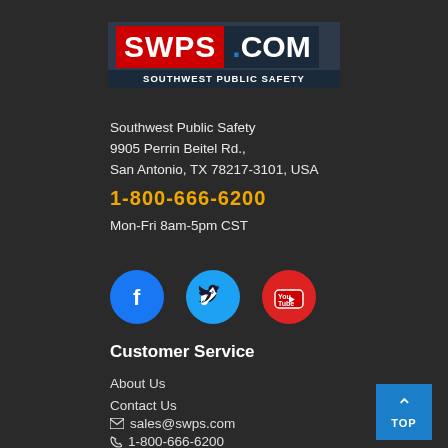[Figure (logo): SWPS.COM Southwest Public Safety logo with red background for SWPS and dark blue background for .COM and subtitle]
Southwest Public Safety
9905 Perrin Beitel Rd.,
San Antonio, TX 78217-3101, USA
1-800-666-6200
Mon-Fri 8am-5pm CST
[Figure (illustration): Three social media icon circles: Facebook (blue), Twitter (cyan), YouTube (red with You Tube text)]
Customer Service
About Us
Contact Us
sales@swps.com
1-800-666-6200